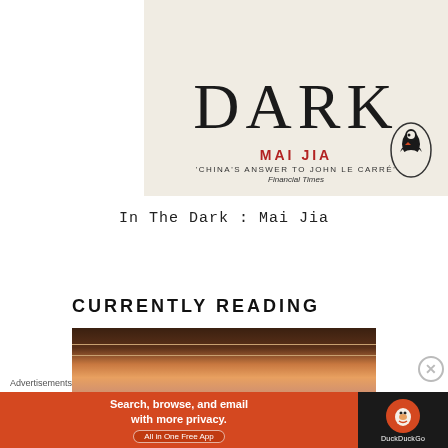[Figure (illustration): Book cover for 'In The Dark' by Mai Jia. Cream/off-white background with large text 'DARK' at top, author name 'MAI JIA' in red, tagline 'CHINA'S ANSWER TO JOHN LE CARRÉ' and 'Financial Times', Penguin Books logo oval on right.]
In The Dark : Mai Jia
CURRENTLY READING
[Figure (photo): Partial book cover image showing a dark background with what appears to be a person's face and a decorative lace strip.]
Advertisements
[Figure (other): DuckDuckGo advertisement banner: orange left panel with text 'Search, browse, and email with more privacy. All in One Free App' and DuckDuckGo duck logo on dark right panel.]